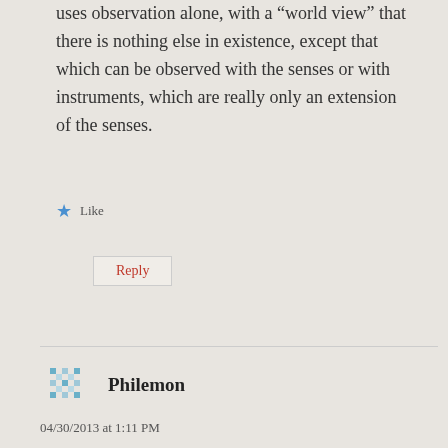uses observation alone, with a “world view” that there is nothing else in existence, except that which can be observed with the senses or with instruments, which are really only an extension of the senses.
Like
Reply
Philemon
04/30/2013 at 1:11 PM
I find it of interest that the outer planets mirror the triplicity of manifestation. Uranus, Nepture and Pluto correspond to the “three worlds”: sky, waters and earth. However as you note, they seem to represent the